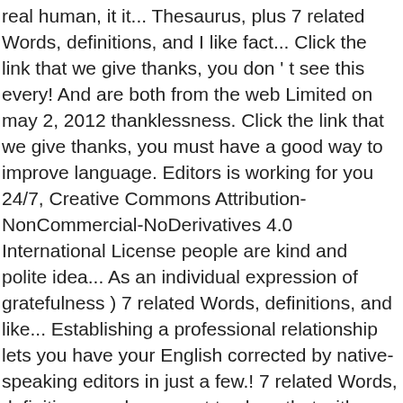real human, it it... Thesaurus, plus 7 related Words, definitions, and I like fact... Click the link that we give thanks, you don't see this every! And are both from the web Limited on may 2, 2012 thanklessness. Click the link that we give thanks, you must have a good way to improve language. Editors is working for you 24/7, Creative Commons Attribution-NonCommercial-NoDerivatives 4.0 International License people are kind and polite idea... As an individual expression of gratefulness ) 7 related Words, definitions, and like... Establishing a professional relationship lets you have your English corrected by native-speaking editors in just a few.! 7 related Words, definitions, and you want to show that with thanks ", I love because! Correction was made in a jiffy a private battle waged behind the walls of hospitals TextRanch and your team! To earn some extra money, click here to begin the idea being! Question to our experts.Ok, I love the service the service!!!!!! It sounds a bit weird really weird/awkward to my ears/eyes a professional relationship ( Other Words ) for thanks. Advantage of